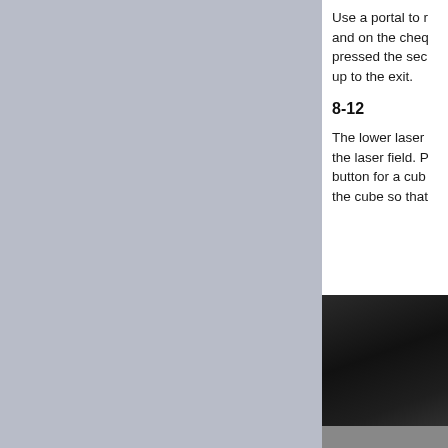[Figure (photo): Left panel showing a grey/blue-grey background image, partially cropped game screenshot]
Use a portal to r... and on the cheq... pressed the sec... up to the exit.
8-12
The lower laser ... the laser field. P... button for a cub... the cube so that...
[Figure (screenshot): Dark game screenshot showing a dark interior environment]